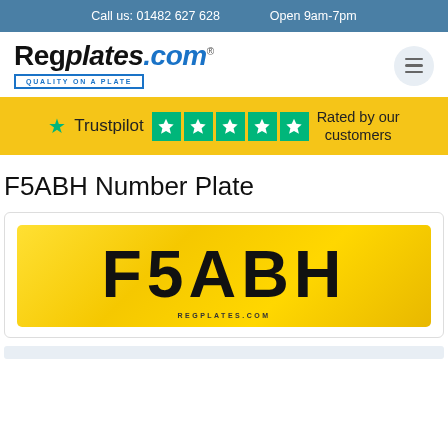Call us: 01482 627 628   Open 9am-7pm
[Figure (logo): Regplates.com logo with tagline QUALITY ON A PLATE and hamburger menu icon]
[Figure (infographic): Trustpilot banner with 5 green star boxes and text: Rated by our customers]
F5ABH Number Plate
[Figure (photo): Yellow UK number plate showing F5ABH with REGPLATES.COM watermark at the bottom]